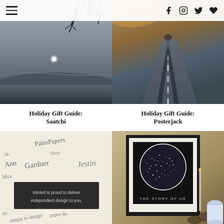≡  f  ♡  Instagram  Twitter  ♥
[Figure (photo): Black and white landscape photo with a bright moon or light spot over dark hills, tree branches visible at top]
[Figure (photo): Photo of a person's shadow on a road stretching into the distance, warm golden tones]
Holiday Gift Guide: Saatchi
Holiday Gift Guide: Posterjack
[Figure (photo): Calligraphy / handwriting samples with a dark card reading 'Minted is proud to deliver independent design to you']
[Figure (photo): Framed star map print reading 'THE STORY OF US' with a circle of stars, displayed with decorative items]